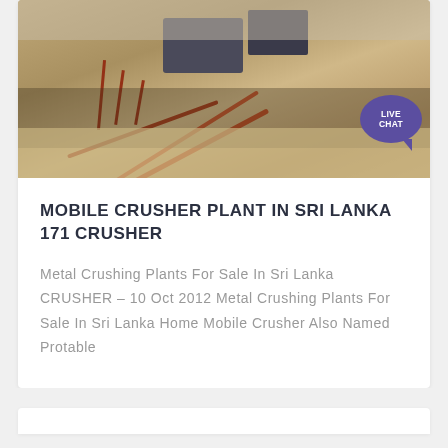[Figure (photo): Aerial/elevated view of a mobile crusher plant with conveyor belts and heavy machinery on a sandy/dusty mining site. A 'LIVE CHAT' speech bubble badge appears in the top-right corner of the image.]
MOBILE CRUSHER PLANT IN SRI LANKA 171 CRUSHER
Metal Crushing Plants For Sale In Sri Lanka CRUSHER – 10 Oct 2012 Metal Crushing Plants For Sale In Sri Lanka Home Mobile Crusher Also Named Protable